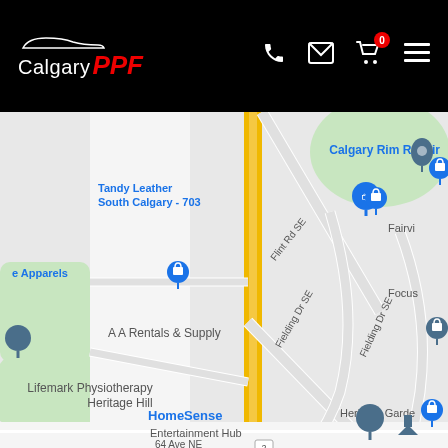[Figure (screenshot): Calgary PPF website header/navbar with logo, phone icon, email icon, shopping cart with 0 badge, and hamburger menu icon on black background]
[Figure (map): Google Maps screenshot showing area near Flint Rd SE in Calgary with markers for Tandy Leather South Calgary - 703, Calgary Rim Repair, A A Rentals & Supply, Lifemark Physiotherapy Heritage Hill, HomeSense, Entertainment Hub, and road labels including Flint Rd SE, Fielding Dr SE, with yellow road (main road) running vertically]